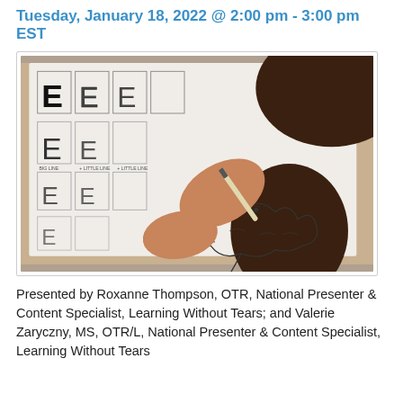Tuesday, January 18, 2022 @ 2:00 pm - 3:00 pm EST
[Figure (photo): Child writing letters on a worksheet with pencil, showing handwriting practice exercises with large letter E formations and a bird illustration]
Presented by Roxanne Thompson, OTR, National Presenter & Content Specialist, Learning Without Tears; and Valerie Zaryczny, MS, OTR/L, National Presenter & Content Specialist, Learning Without Tears